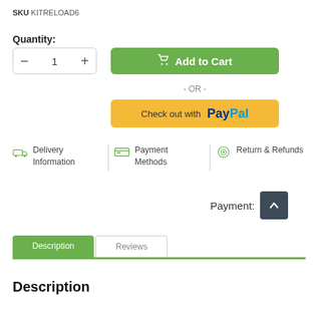SKU KITRELOAD6
Quantity:
[Figure (screenshot): Quantity selector showing minus button, 1, plus button]
[Figure (screenshot): Add to Cart button in green]
- OR -
[Figure (screenshot): Check out with PayPal button in yellow/orange]
Delivery Information
Payment Methods
Return & Refunds
Payment:
[Figure (screenshot): Up chevron button in dark grey]
[Figure (screenshot): Description and Reviews tabs]
Description